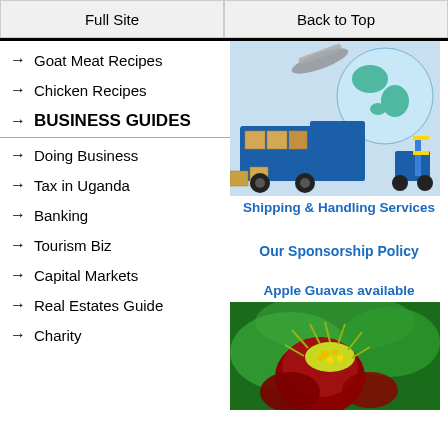Full Site | Back to Top
Goat Meat Recipes
Chicken Recipes
BUSINESS GUIDES
Doing Business
Tax in Uganda
Banking
Tourism Biz
Capital Markets
Real Estates Guide
Charity
[Figure (photo): Shipping containers with blue truck and globe in background]
Shipping & Handling Services
Our Sponsorship Policy
Apple Guavas available
[Figure (photo): Close-up of red tropical flower with green leaves and yellow details]